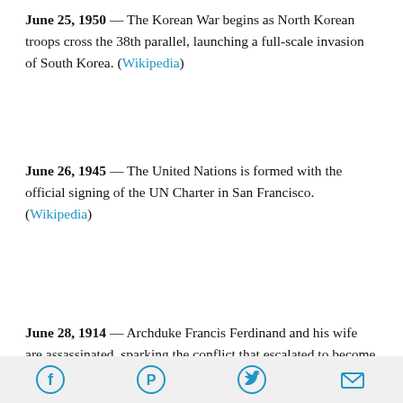June 25, 1950 — The Korean War begins as North Korean troops cross the 38th parallel, launching a full-scale invasion of South Korea. (Wikipedia)
June 26, 1945 — The United Nations is formed with the official signing of the UN Charter in San Francisco. (Wikipedia)
June 28, 1914 — Archduke Francis Ferdinand and his wife are assassinated, sparking the conflict that escalated to become World War I. (Wikipedia)
Social share icons: Facebook, Pinterest, Twitter, Email